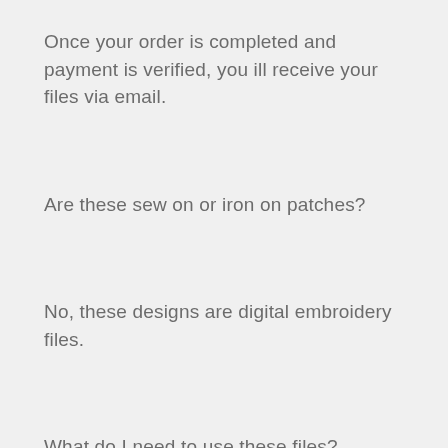Once your order is completed and payment is verified, you ill receive your files via email.
Are these sew on or iron on patches?
No, these designs are digital embroidery files.
What do I need to use these files?
You will need an embroidery machine. Files are typically transferred through a "Jump Drive" or